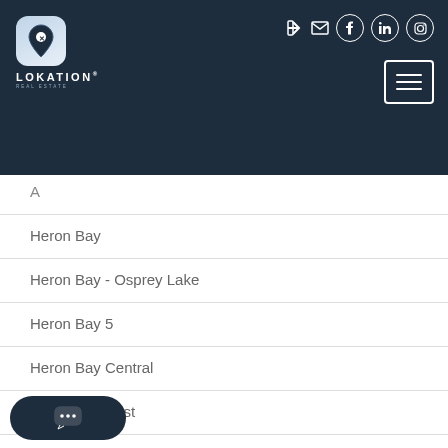[Figure (logo): Lokation Real Estate logo — location pin icon with X on dark navy background header, with social media icons and hamburger menu]
Heron Bay
Heron Bay - Osprey Lake
Heron Bay 5
Heron Bay Central
Heron Bay East
Heron Bay East 169-105 B
Five 164-37 B